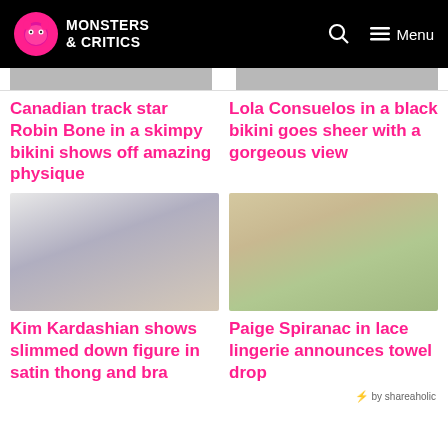MONSTERS & CRITICS
Canadian track star Robin Bone in a skimpy bikini shows off amazing physique
Lola Consuelos in a black bikini goes sheer with a gorgeous view
[Figure (photo): Close-up portrait of a woman with platinum blonde hair and heavy makeup]
[Figure (photo): Close-up portrait of a blonde woman with natural makeup outdoors with greenery in background]
Kim Kardashian shows slimmed down figure in satin thong and bra
Paige Spiranac in lace lingerie announces towel drop
⚡ by shareaholic